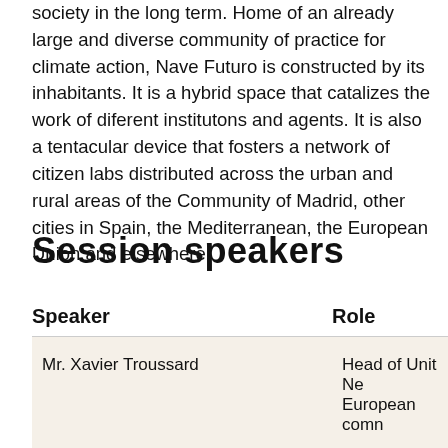society in the long term. Home of an already large and diverse community of practice for climate action, Nave Futuro is constructed by its inhabitants. It is a hybrid space that catalizes the work of diferent institutons and agents. It is also a tentacular device that fosters a network of citizen labs distributed across the urban and rural areas of the Community of Madrid, other cities in Spain, the Mediterranean, the European Union and elsewhere.
Session speakers
| Speaker | Role |
| --- | --- |
| Mr. Xavier Troussard | Head of Unit Ne
European comn |